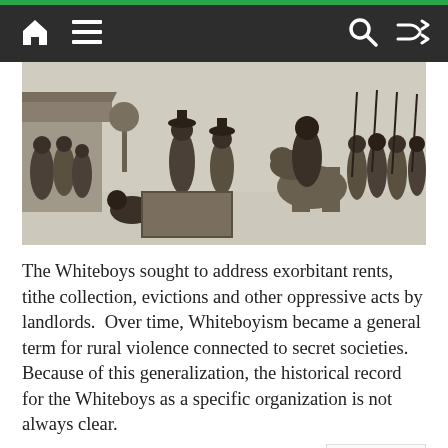Navigation bar with home, menu, search, and shuffle icons
[Figure (illustration): Black and white historical illustration showing a scene of eviction or confrontation, with a group of people including men in hats, a horse, and onlookers outside a rural building.]
The Whiteboys sought to address exorbitant rents, tithe collection, evictions and other oppressive acts by landlords.  Over time, Whiteboyism became a general term for rural violence connected to secret societies. Because of this generalization, the historical record for the Whiteboys as a specific organization is not always clear.
The first major outbreak occurred in County Limerick in November 1761, and quickly spread to